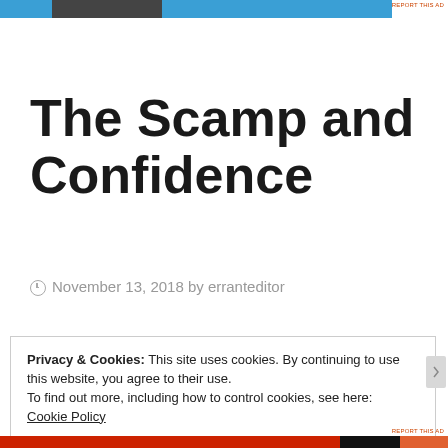[Figure (other): Ad banner strip at top with blue, dark grey, and blue sections, with 'REPORT THIS AD' text]
The Scamp and Confidence
November 13, 2018 by erranteditor
Privacy & Cookies: This site uses cookies. By continuing to use this website, you agree to their use.
To find out more, including how to control cookies, see here:
Cookie Policy
Close and accept